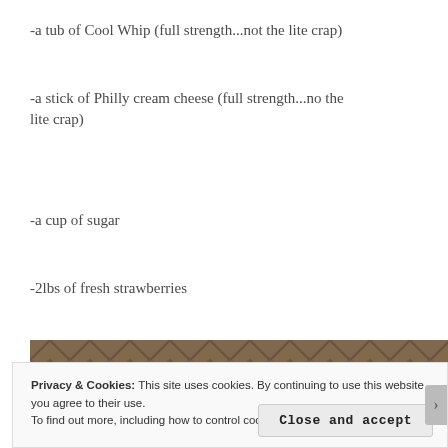-a tub of Cool Whip (full strength...not the lite crap)
-a stick of Philly cream cheese (full strength...no the lite crap)
-a cup of sugar
-2lbs of fresh strawberries
[Figure (photo): Partial view of a decorative tile or stone surface with a chevron/herringbone pattern in brown/tan tones]
Privacy & Cookies: This site uses cookies. By continuing to use this website, you agree to their use.
To find out more, including how to control cookies, see here: Cookie Policy
Close and accept